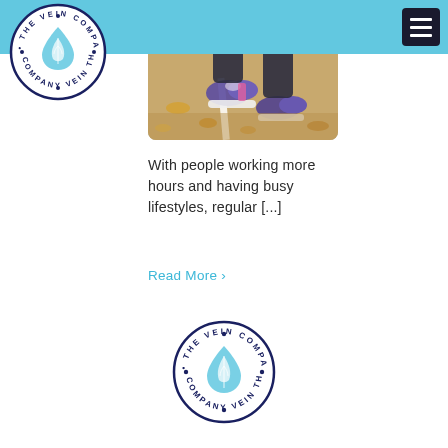The Vein Company - navigation header
[Figure (logo): The Vein Company circular logo with water drop and leaf, top left]
[Figure (photo): Close-up photo of person's feet wearing colorful sneakers walking on a path with autumn leaves]
With people working more hours and having busy lifestyles, regular [...]
Read More >
[Figure (logo): The Vein Company circular logo with water drop and leaf, bottom center]